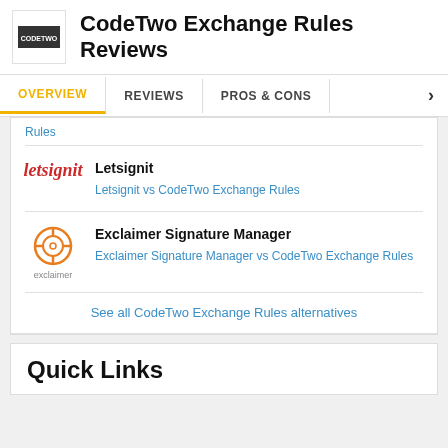CodeTwo Exchange Rules Reviews
OVERVIEW  REVIEWS  PROS & CONS
Rules
Letsignit
Letsignit vs CodeTwo Exchange Rules
Exclaimer Signature Manager
Exclaimer Signature Manager vs CodeTwo Exchange Rules
See all CodeTwo Exchange Rules alternatives
Quick Links